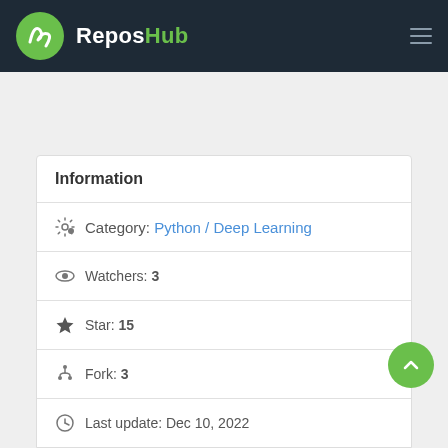ReposHub
Information
Category: Python / Deep Learning
Watchers: 3
Star: 15
Fork: 3
Last update: Dec 10, 2022